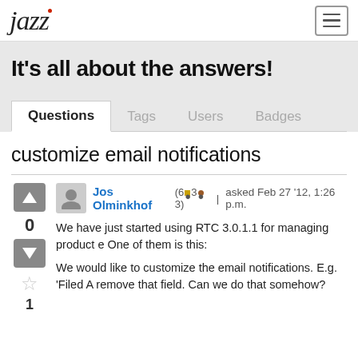jazz [hamburger menu]
It's all about the answers!
Questions | Tags | Users | Badges
customize email notifications
Jos Olminkhof (6●3●3) | asked Feb 27 '12, 1:26 p.m.
We have just started using RTC 3.0.1.1 for managing product e One of them is this:
We would like to customize the email notifications. E.g. 'Filed A remove that field. Can we do that somehow?